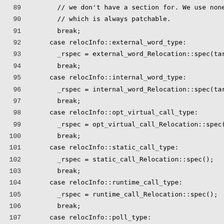Code listing lines 89-118, C++ switch-case code for relocation types
89    // we don't have a section for. We use none so
90    // which is always patchable.
91    break;
92  case relocInfo::external_word_type:
93    _rspec = external_word_Relocation::spec(target)
94    break;
95  case relocInfo::internal_word_type:
96    _rspec = internal_word_Relocation::spec(target)
97    break;
98  case relocInfo::opt_virtual_call_type:
99    _rspec = opt_virtual_call_Relocation::spec();
100   break;
101 case relocInfo::static_call_type:
102   _rspec = static_call_Relocation::spec();
103   break;
104 case relocInfo::runtime_call_type:
105   _rspec = runtime_call_Relocation::spec();
106   break;
107 case relocInfo::poll_type:
108 case relocInfo::poll_return_type:
109   _rspec = Relocation::spec_simple(rtype);
110   break;
111 case relocInfo::none:
112   break;
113 default:
114   ShouldNotReachHere();
115   break;
116   }
117 }
118